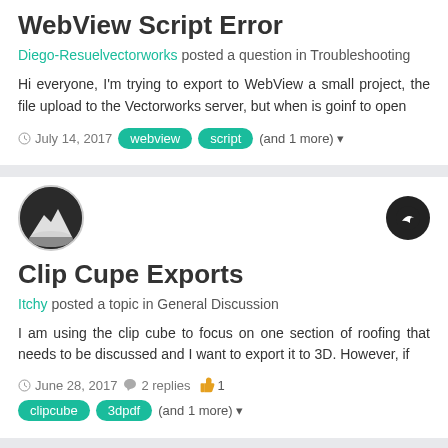WebView Script Error
Diego-Resuelvectorworks posted a question in Troubleshooting
Hi everyone, I'm trying to export to WebView a small project, the file upload to the Vectorworks server, but when is goinf to open
July 14, 2017  webview  script  (and 1 more)
Clip Cupe Exports
Itchy posted a topic in General Discussion
I am using the clip cube to focus on one section of roofing that needs to be discussed and I want to export it to 3D. However, if
June 28, 2017  2 replies  1  clipcube  3dpdf  (and 1 more)